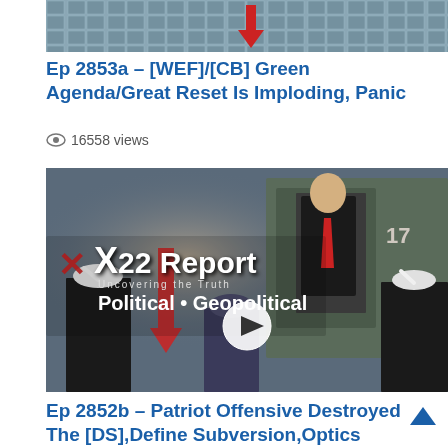[Figure (photo): Aerial view of solar panels, partially visible at top of page]
Ep 2853a – [WEF]/[CB] Green Agenda/Great Reset Is Imploding, Panic
👁 16558 views
[Figure (photo): X22 Report thumbnail showing Trump saluting while exiting helicopter, flanked by Marines. Overlay text reads 'X22 Report - Political • Geopolitical' with play button.]
Ep 2852b – Patriot Offensive Destroyed The [DS],Define Subversion,Optics